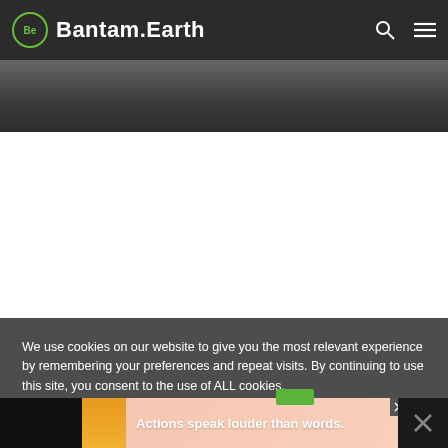Bantam.Earth
[Figure (photo): Partial photo visible at top, appears to show a dark outdoor or nature scene]
We use cookies on our website to give you the most relevant experience by remembering your preferences and repeat visits. By continuing to use this site, you consent to the use of ALL cookies.
[Figure (photo): Bottom advertisement banner with text 'Actions speak louder than words.' showing a person in a yellow shirt on a pink/coral background]